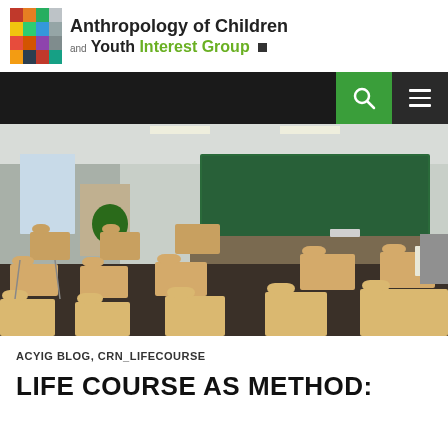Anthropology of Children and Youth Interest Group
[Figure (photo): Empty classroom with rows of student desks and chairs, a large green chalkboard at the front, fluorescent lighting, and grey walls.]
ACYIG BLOG, CRN_LIFECOURSE
LIFE COURSE AS METHOD: